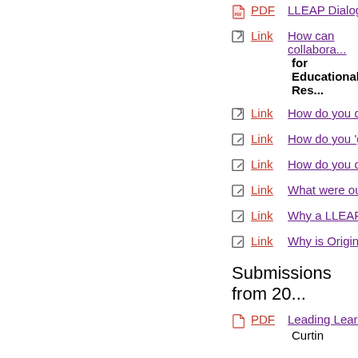PDF  LLEAP Dialogue Se...
Link  How can collabora... for Educational Res...
Link  How do you conne...
Link  How do you 'grow' ...
Link  How do you overco...
Link  What were our hop...
Link  Why a LLEAP Dialo...
Link  Why is Origin Foun...
Submissions from 20...
PDF  Leading Learning i... Curtin